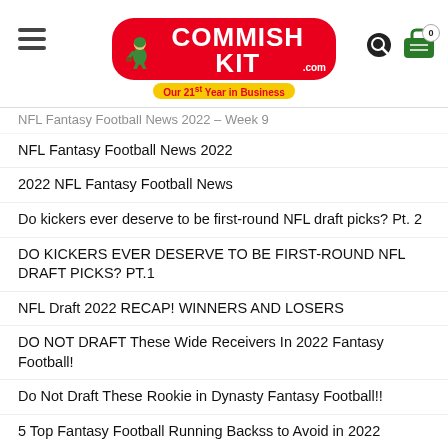COMMISH KIT .com — Our 21st Year in Business
NFL Fantasy Football News 2022 – Week 9 [truncated]
NFL Fantasy Football News 2022
2022 NFL Fantasy Football News
Do kickers ever deserve to be first-round NFL draft picks? Pt. 2
DO KICKERS EVER DESERVE TO BE FIRST-ROUND NFL DRAFT PICKS? PT.1
NFL Draft 2022 RECAP! WINNERS AND LOSERS
DO NOT DRAFT These Wide Receivers In 2022 Fantasy Football!
Do Not Draft These Rookie in Dynasty Fantasy Football!!
5 Top Fantasy Football Running Backss to Avoid in 2022
2 DARK HORSE RUNNING BACKS
3 Gems that I like in the 2022 Fantasy Football drafts
Will Mac Jones Have a Breakout Season?
5 Fantasy Football QB Sleepers 2022